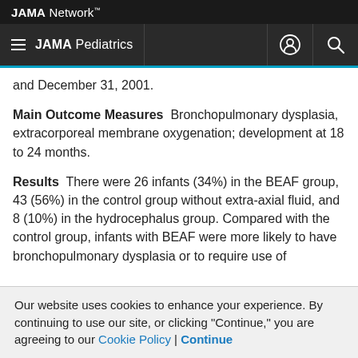JAMA Network™
≡ JAMA Pediatrics
and December 31, 2001.
Main Outcome Measures  Bronchopulmonary dysplasia, extracorporeal membrane oxygenation; development at 18 to 24 months.
Results  There were 26 infants (34%) in the BEAF group, 43 (56%) in the control group without extra-axial fluid, and 8 (10%) in the hydrocephalus group. Compared with the control group, infants with BEAF were more likely to have bronchopulmonary dysplasia or to require use of
Our website uses cookies to enhance your experience. By continuing to use our site, or clicking "Continue," you are agreeing to our Cookie Policy | Continue